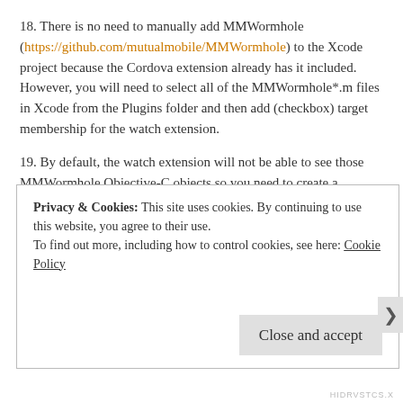18. There is no need to manually add MMWormhole (https://github.com/mutualmobile/MMWormhole) to the Xcode project because the Cordova extension already has it included. However, you will need to select all of the MMWormhole*.m files in Xcode from the Plugins folder and then add (checkbox) target membership for the watch extension.
19. By default, the watch extension will not be able to see those MMWormhole Objective-C objects so you need to create a bridging header. Go to Oracle_ADFmc_Container_Template – Choose the Watch Target Extension – Build Settings – Swift Compiler Code Generation – Objective-C Bridging Header and specify the value:
Privacy & Cookies: This site uses cookies. By continuing to use this website, you agree to their use.
To find out more, including how to control cookies, see here: Cookie Policy